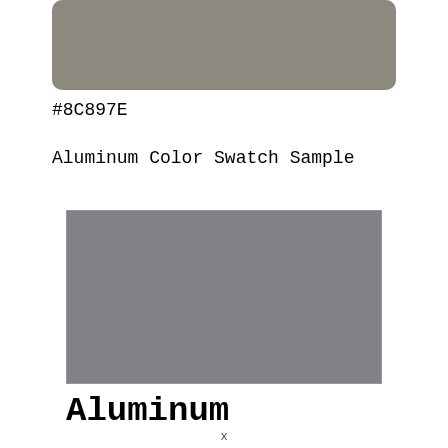[Figure (illustration): Top color swatch showing a warm gray color #8C897E, rounded rectangle shape, cropped at top]
#8C897E
Aluminum Color Swatch Sample
[Figure (illustration): Large rectangular color swatch showing aluminum gray color #808285 with a thin light border]
Aluminum
x